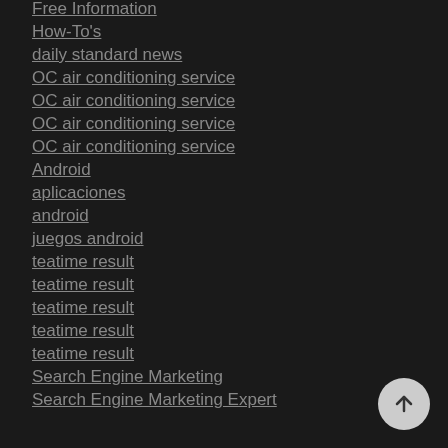Free Information
How-To's
daily standard news
OC air conditioning service
OC air conditioning service
OC air conditioning service
OC air conditioning service
Android
aplicaciones
android
juegos android
teatime result
teatime result
teatime result
teatime result
teatime result
Search Engine Marketing
Search Engine Marketing Expert